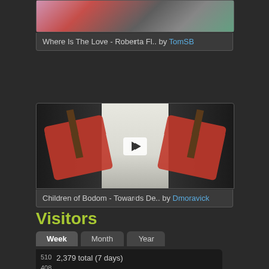[Figure (screenshot): Video thumbnail for 'Where Is The Love - Roberta Fl..' showing partial guitar/piano scene, clipped at top]
Where Is The Love - Roberta Fl.. by TomSB
[Figure (screenshot): Video thumbnail showing a person playing a red electric guitar, mirrored/doubled image against bright window background]
Children of Bodom - Towards De.. by Dmoravick
Visitors
Week | Month | Year
510  2,379 total (7 days)
408